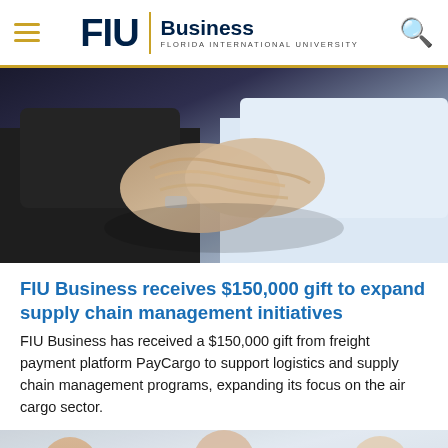FIU Business - Florida International University
[Figure (photo): Two people shaking hands in business attire, close-up photograph]
FIU Business receives $150,000 gift to expand supply chain management initiatives
FIU Business has received a $150,000 gift from freight payment platform PayCargo to support logistics and supply chain management programs, expanding its focus on the air cargo sector.
[Figure (photo): Group of people in a meeting or discussion, business setting]